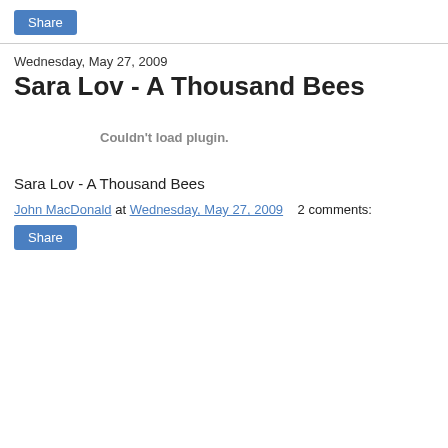Share
Wednesday, May 27, 2009
Sara Lov - A Thousand Bees
[Figure (other): Embedded media plugin area showing 'Couldn't load plugin.' message]
Sara Lov - A Thousand Bees
John MacDonald at Wednesday, May 27, 2009   2 comments:
Share